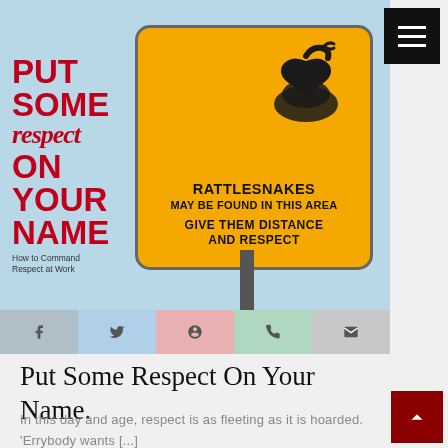[Figure (illustration): Article hero image showing a yellow rattlesnake warning sign reading 'RATTLESNAKES MAY BE FOUND IN THIS AREA GIVE THEM DISTANCE AND RESPECT' overlaid with a book cover 'PUT SOME RESPECT ON YOUR NAME - How to Command Respect at Work' with a CareerPump logo, against a light blue sky background. Below the image is a social media sharing bar with Facebook, Twitter, Pinterest, WhatsApp, and Email icons.]
Put Some Respect On Your Name.
In this day and age, respect is as fleeting as it is hoarded. 'Errybody wants [...]